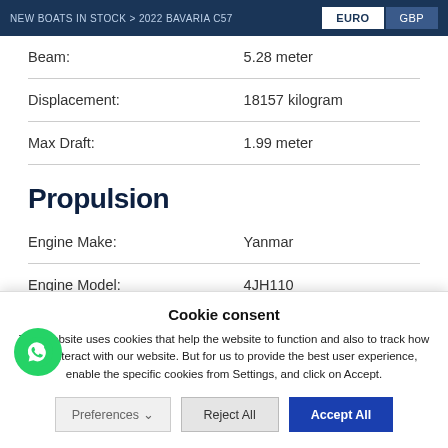NEW BOATS IN STOCK > 2022 BAVARIA C57 | EURO | GBP
| Specification | Value |
| --- | --- |
| Beam: | 5.28 meter |
| Displacement: | 18157 kilogram |
| Max Draft: | 1.99 meter |
Propulsion
| Specification | Value |
| --- | --- |
| Engine Make: | Yanmar |
| Engine Model: | 4JH110 |
| Engine Power: | 110.0hp |
Cookie consent
This website uses cookies that help the website to function and also to track how you interact with our website. But for us to provide the best user experience, enable the specific cookies from Settings, and click on Accept.